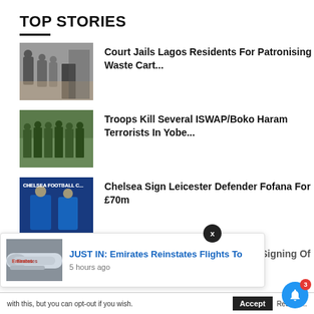TOP STORIES
Court Jails Lagos Residents For Patronising Waste Cart...
Troops Kill Several ISWAP/Boko Haram Terrorists In Yobe...
Chelsea Sign Leicester Defender Fofana For £70m
Antony: Man Utd Complete £86m Signing Of
JUST IN: Emirates Reinstates Flights To
5 hours ago
with this, but you can opt-out if you wish.
Accept
Read M...